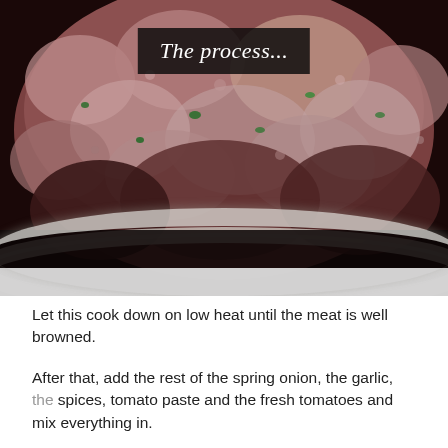[Figure (photo): A close-up photo of ground/minced meat cooking in a dark pan or pot, with visible green herbs mixed in. The meat appears partially browned. An overlay text box reads 'The process...' in white italic text on a dark background, positioned in the upper-center of the image.]
Let this cook down on low heat until the meat is well browned.
After that, add the rest of the spring onion, the garlic, the spices, tomato paste and the fresh tomatoes and mix everything in.